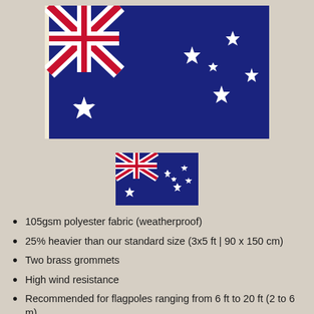[Figure (photo): Large Australian flag image showing dark navy blue background with Union Jack in upper-left canton, Commonwealth Star at lower-left, and Southern Cross stars on right side.]
[Figure (photo): Small thumbnail image of Australian flag.]
105gsm polyester fabric (weatherproof)
25% heavier than our standard size (3x5 ft | 90 x 150 cm)
Two brass grommets
High wind resistance
Recommended for flagpoles ranging from 6 ft to 20 ft (2 to 6 m)